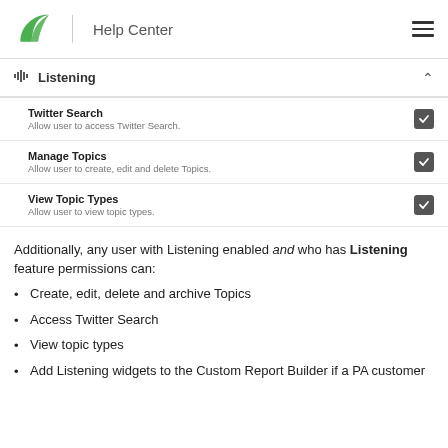Help Center
Listening
Twitter Search — Allow user to access Twitter Search.
Manage Topics — Allow user to create, edit and delete Topics.
View Topic Types — Allow user to view topic types.
Additionally, any user with Listening enabled and who has Listening feature permissions can:
Create, edit, delete and archive Topics
Access Twitter Search
View topic types
Add Listening widgets to the Custom Report Builder if a PA customer